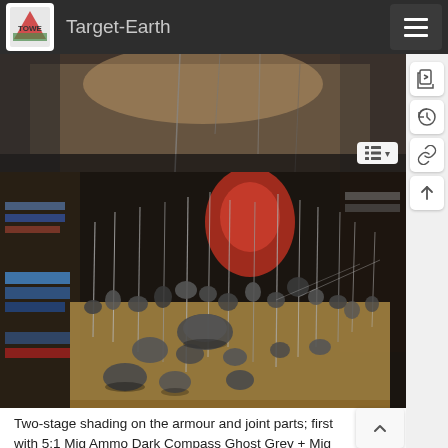Target-Earth
[Figure (photo): Top partial photo of a hobby workspace showing clamps or tools on a wooden surface, partially visible]
[Figure (photo): Photo of numerous miniature figure parts mounted on pins/sticks stuck into a foam or cardboard base on a hobby workbench, showing two-stage shading work in progress with dark grey coloring on armour and joint parts]
Two-stage shading on the armour and joint parts; first with 5:1 Mig Ammo Dark Compass Ghost Grey + Mig Ammo Sea Blue, then blown in with Dark Compass Ghost Grey highlights;